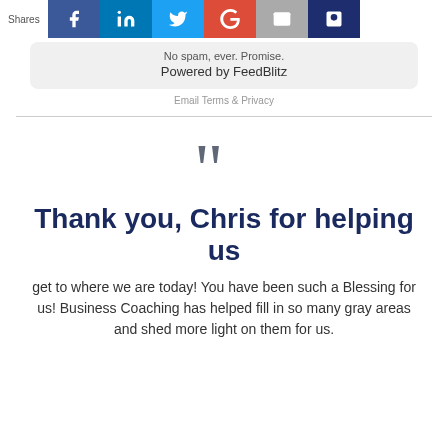Shares | Facebook | LinkedIn | Twitter | Google+ | Email | Other
No spam, ever. Promise.
Powered by FeedBlitz
Email Terms & Privacy
““
Thank you, Chris for helping us
get to where we are today! You have been such a Blessing for us! Business Coaching has helped fill in so many gray areas and shed more light on them for us.